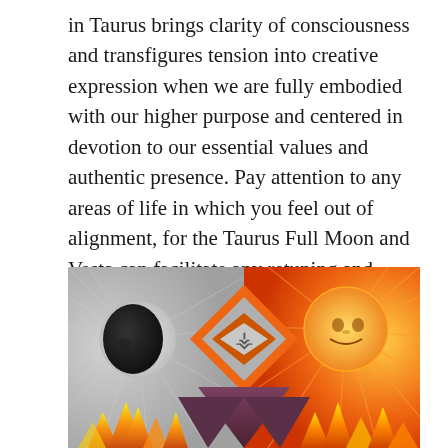in Taurus brings clarity of consciousness and transfigures tension into creative expression when we are fully embodied with our higher purpose and centered in devotion to our essential values and authentic presence. Pay attention to any areas of life in which you feel out of alignment, for the Taurus Full Moon and Vesta can facilitate any retuning and rebalancing that is needed.
[Figure (illustration): Painting depicting a mystical scene: on the left a dark moon/eclipse with a face shown in profile, emitting grey-silver rays, in the center a geometric diamond shape in orange and grey with the astrological symbol for Vesta, on the right a warm sun with a smiling face emitting orange-red rays. In the foreground a volcanic mountain with flames rising from below on both sides.]